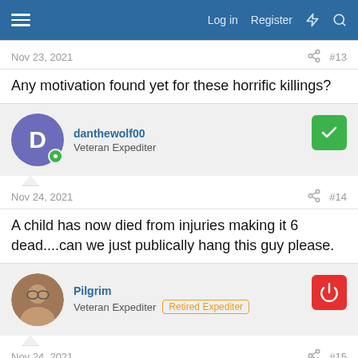Log in  Register
Nov 23, 2021  #13
Any motivation found yet for these horrific killings?
danthewolf00
Veteran Expediter
Nov 24, 2021  #14
A child has now died from injuries making it 6 dead....can we just publically hang this guy please.
Pilgrim
Veteran Expediter  Retired Expediter
Nov 24, 2021  #15
The Milwaukee prosecutor who was responsible for the low bail